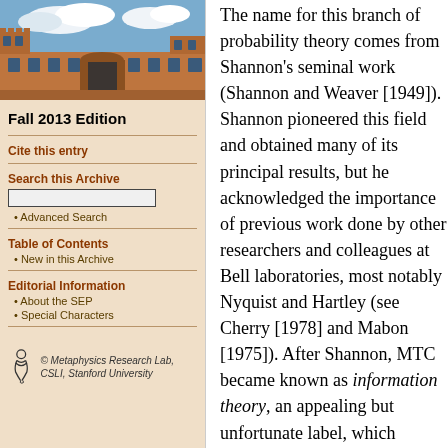[Figure (photo): Aerial view of a historical stone university building with towers and courtyard under a partly cloudy sky]
Fall 2013 Edition
Cite this entry
Search this Archive
Advanced Search
Table of Contents
New in this Archive
Editorial Information
About the SEP
Special Characters
[Figure (logo): Metaphysics Research Lab, CSLI, Stanford University logo with stylized figure]
The name for this branch of probability theory comes from Shannon's seminal work (Shannon and Weaver [1949]). Shannon pioneered this field and obtained many of its principal results, but he acknowledged the importance of previous work done by other researchers and colleagues at Bell laboratories, most notably Nyquist and Hartley (see Cherry [1978] and Mabon [1975]). After Shannon, MTC became known as information theory, an appealing but unfortunate label, which continues to cause endless misunderstandings. Shannon came to regret its